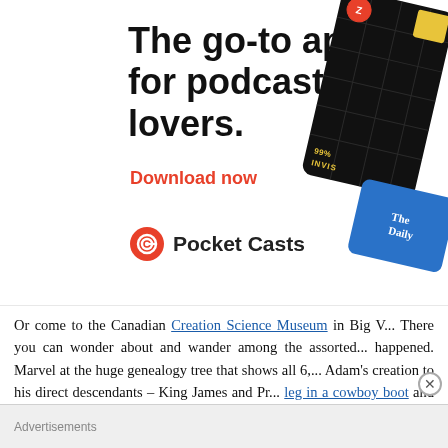[Figure (illustration): Pocket Casts app advertisement banner. Large bold text: 'The go-to app for podcast lovers.' Red text link: 'Download now'. Pocket Casts logo (red circular icon with headphone/cast symbol) and bold text 'Pocket Casts'. Right side shows dark card (99% Invisible podcast) and blue card (The Daily) at an angle.]
Or come to the Canadian Creation Science Museum in Big V... There you can wonder about and wander among the assorted... happened. Marvel at the huge genealogy tree that shows all 6,... Adam's creation to his direct descendants – King James and Pr... leg in a cowboy boot and the iron not discovered in coa...
Advertisements